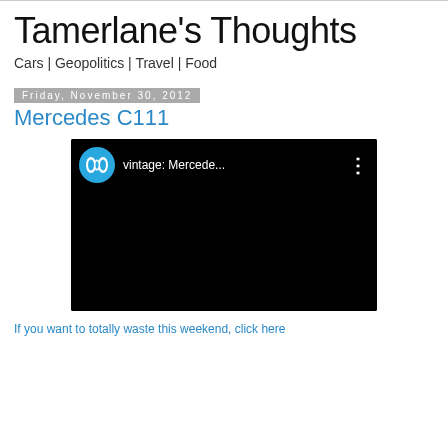Tamerlane's Thoughts
Cars | Geopolitics | Travel | Food
Friday, November 30, 2012
Mercedes C111
[Figure (screenshot): Embedded video player showing a DW (Deutsche Welle) YouTube video titled 'vintage: Mercede...' with a black video area and three-dot menu icon]
If you want to totally waste this weekend, click here